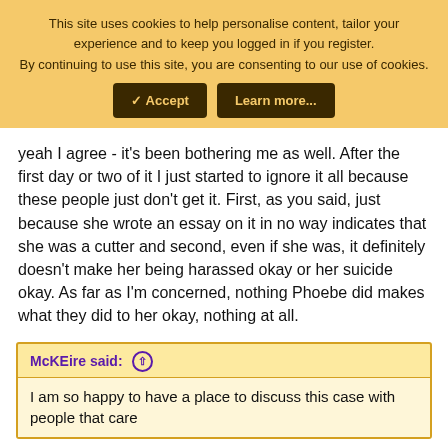This site uses cookies to help personalise content, tailor your experience and to keep you logged in if you register. By continuing to use this site, you are consenting to our use of cookies.
✓ Accept | Learn more...
yeah I agree - it's been bothering me as well. After the first day or two of it I just started to ignore it all because these people just don't get it. First, as you said, just because she wrote an essay on it in no way indicates that she was a cutter and second, even if she was, it definitely doesn't make her being harassed okay or her suicide okay. As far as I'm concerned, nothing Phoebe did makes what they did to her okay, nothing at all.
McK Eire said: ↑
I am so happy to have a place to discuss this case with people that care